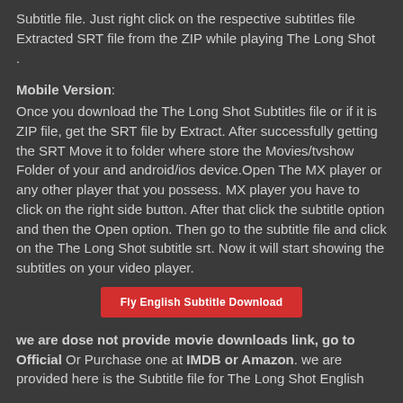Subtitle file. Just right click on the respective subtitles file Extracted SRT file from the ZIP while playing The Long Shot .
Mobile Version:
Once you download the The Long Shot Subtitles file or if it is ZIP file, get the SRT file by Extract. After successfully getting the SRT Move it to folder where store the Movies/tvshow Folder of your and android/ios device.Open The MX player or any other player that you possess. MX player you have to click on the right side button. After that click the subtitle option and then the Open option. Then go to the subtitle file and click on the The Long Shot subtitle srt. Now it will start showing the subtitles on your video player.
[Figure (other): Red download button labeled 'Fly English Subtitle Download']
we are dose not provide movie downloads link, go to Official Or Purchase one at IMDB or Amazon. we are provided here is the Subtitle file for The Long Shot English